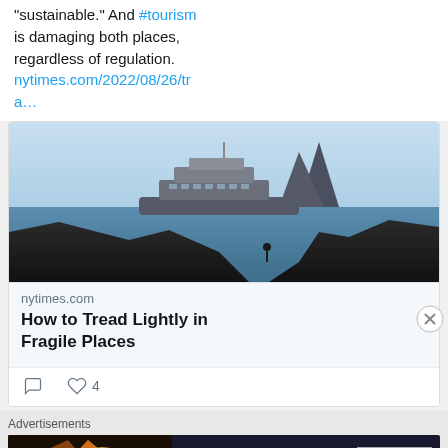"sustainable." And #tourism is damaging both places, regardless of regulation. nytimes.com/2022/08/26/tra…
[Figure (photo): A cruise ship on the ocean with a dramatic rocky island formation in the background, silhouetted rocky coastline in the foreground with a person sitting on the rocks. Blue sky and calm blue water.]
nytimes.com
How to Tread Lightly in Fragile Places
4 (likes)
Advertisements
[Figure (screenshot): Seamless food delivery advertisement banner. Shows pizza on the left, Seamless logo in red in the center, and ORDER NOW button on the right, all on a dark background.]